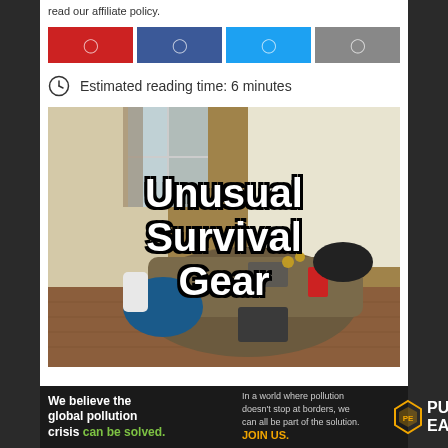read our affiliate policy.
[Figure (infographic): Social share buttons: red Pinterest, blue Facebook, cyan Twitter, gray share button]
Estimated reading time: 6 minutes
[Figure (photo): Photo of survival gear bag on wooden floor with text overlay reading 'Unusual Survival Gear']
[Figure (infographic): Pure Earth advertisement banner: 'We believe the global pollution crisis can be solved. In a world where pollution doesn't stop at borders, we can all be part of the solution. JOIN US.' with Pure Earth logo]